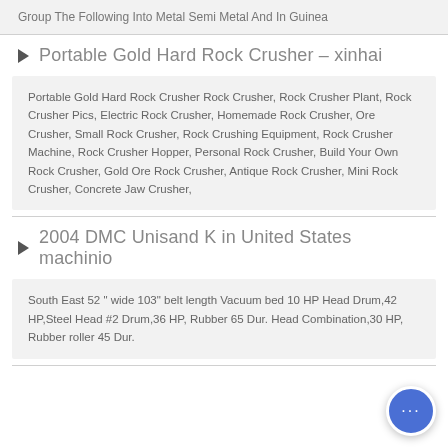Group The Following Into Metal Semi Metal And In Guinea
Portable Gold Hard Rock Crusher – xinhai
Portable Gold Hard Rock Crusher Rock Crusher, Rock Crusher Plant, Rock Crusher Pics, Electric Rock Crusher, Homemade Rock Crusher, Ore Crusher, Small Rock Crusher, Rock Crushing Equipment, Rock Crusher Machine, Rock Crusher Hopper, Personal Rock Crusher, Build Your Own Rock Crusher, Gold Ore Rock Crusher, Antique Rock Crusher, Mini Rock Crusher, Concrete Jaw Crusher,
2004 DMC Unisand K in United States machinio
South East 52 " wide 103" belt length Vacuum bed 10 HP Head Drum,42 HP,Steel Head #2 Drum,36 HP, Rubber 65 Dur. Head Combination,30 HP, Rubber roller 45 Dur.